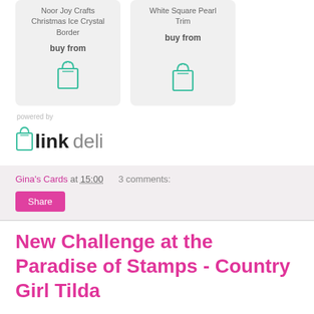[Figure (other): Product card: Noor Joy Crafts Christmas Ice Crystal Border with shop bag icon and 'buy from' label]
[Figure (other): Product card: White Square Pearl Trim with shop bag icon and 'buy from' label]
[Figure (logo): linkdeli logo with 'powered by' text above]
Gina's Cards at 15:00   3 comments:
Share
New Challenge at the Paradise of Stamps - Country Girl Tilda
Morning everyone,
I am back with my second card of the day, if you are looking